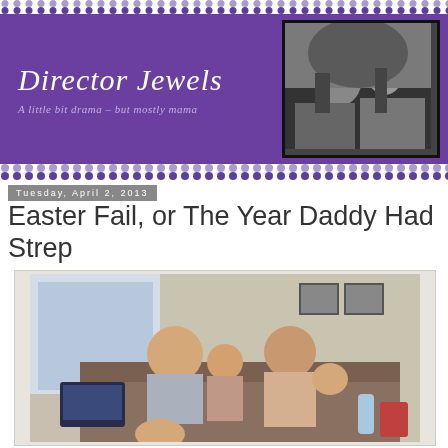Director Jewels — A little bit drama - but mostly mama
Tuesday, April 2, 2013
Easter Fail, or The Year Daddy Had Strep
[Figure (photo): Family photo of two adults with young children sitting on a couch indoors]